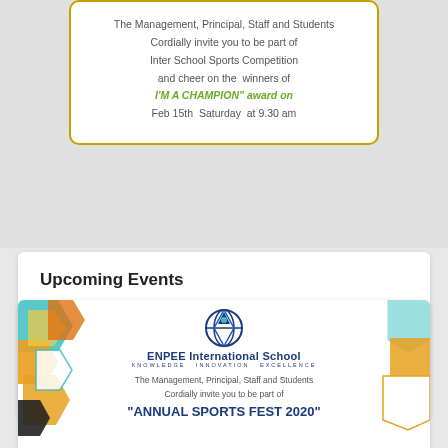[Figure (illustration): Invitation card with decorative border. Text: 'The Management, Principal, Staff and Students Cordially invite you to be part of Inter School Sports Competition and cheer on the winners of I'M A CHAMPION award on Feb 15th Saturday at 9.30 am']
Upcoming Events
Inter School Sports Competition, I'M A CHAMPION
15th Saturday at 09.30 am
ENPEE International School, Karaikal, U.T of Puducherry
[Figure (illustration): ENPEE International School flyer with hexagonal decorations in teal, orange, yellow, and black. School logo shown. Text: 'The Management, Principal, Staff and Students Cordially invite you to be part of "ANNUAL SPORTS FEST 2020"']